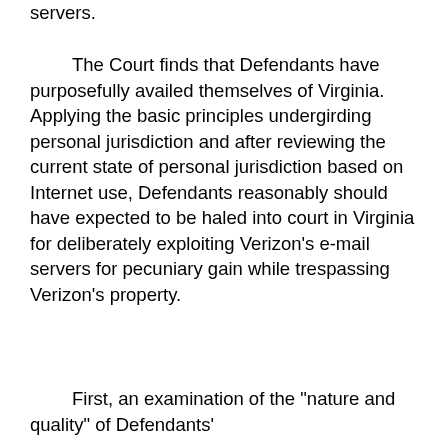servers.
The Court finds that Defendants have purposefully availed themselves of Virginia. Applying the basic principles undergirding personal jurisdiction and after reviewing the current state of personal jurisdiction based on Internet use, Defendants reasonably should have expected to be haled into court in Virginia for deliberately exploiting Verizon's e-mail servers for pecuniary gain while trespassing Verizon's property.
First, an examination of the "nature and quality" of Defendants'